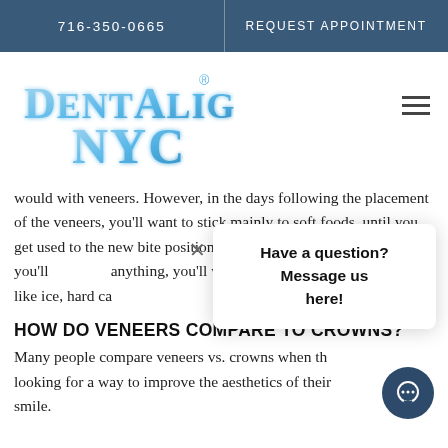716-350-0665   REQUEST APPOINTMENT
[Figure (logo): DentAlign NYC logo in blue stylized text with registered trademark symbol]
would with veneers. However, in the days following the placement of the veneers, you'll want to stick mainly to soft foods, until you get used to the new bite position the veneers create. Though you'll anything, you'll want to stay away from chewy foods, like ice, hard can
[Figure (screenshot): Chat popup overlay with X close button and text: Have a question? Message us here!]
HOW DO VENEERS COMPARE TO CROWNS?
Many people compare veneers vs. crowns when they looking for a way to improve the aesthetics of their smile.